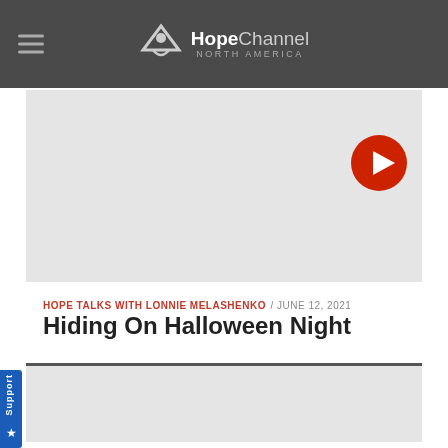HopeChannel NORTH AMERICA
[Figure (screenshot): Video thumbnail placeholder - light gray rectangle with play button]
HOPE TALKS WITH LONNIE MELASHENKO / JUNE 12, 2021
Hiding On Halloween Night
[Figure (screenshot): Second video thumbnail placeholder - light gray rectangle]